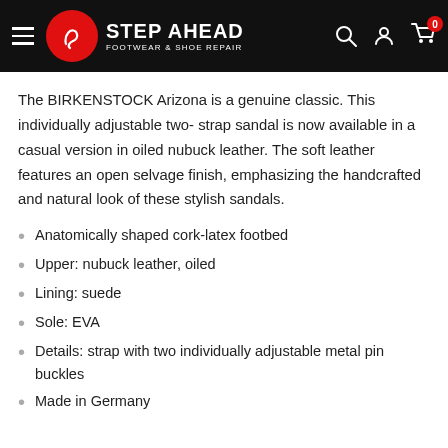STEP AHEAD FOOTWEAR & SHOE REPAIR
The BIRKENSTOCK Arizona is a genuine classic. This individually adjustable two- strap sandal is now available in a casual version in oiled nubuck leather. The soft leather features an open selvage finish, emphasizing the handcrafted and natural look of these stylish sandals.
Anatomically shaped cork-latex footbed
Upper: nubuck leather, oiled
Lining: suede
Sole: EVA
Details: strap with two individually adjustable metal pin buckles
Made in Germany